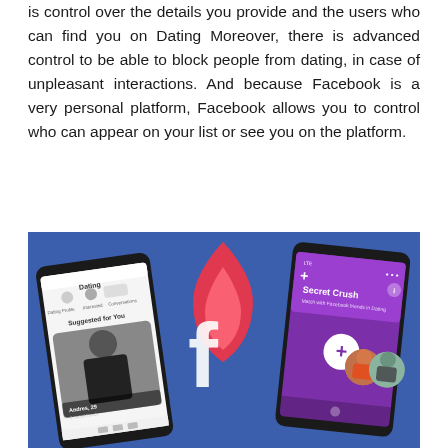is control over the details you provide and the users who can find you on Dating Moreover, there is advanced control to be able to block people from dating, in case of unpleasant interactions. And because Facebook is a very personal platform, Facebook allows you to control who can appear on your list or see you on the platform.
[Figure (illustration): Facebook Dating app promotional image showing two smartphone screens against a blue background with the Facebook logo and a flame/fire icon (similar to Tinder). Left phone shows a Dating profile page with 'Suggested for You' and a photo of a man named Andres, 29. Right phone shows a 'Secret Crush' feature to match with Facebook friends in Dating.]